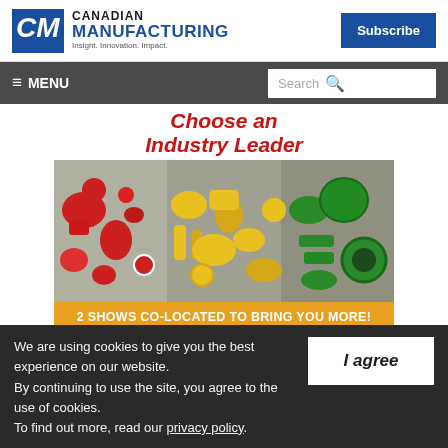[Figure (logo): Canadian Manufacturing logo with CM icon, 'CANADIAN MANUFACTURING' text in blue, tagline 'Insight. Innovation. Impact.']
Subscribe
≡ MENU   Search 🔍
[Figure (photo): Advertisement banner: italic red text 'Choose an Industry Leader' above photo of colorful plastic parts (red, yellow, green) arranged on a surface. Below image: orange banner reading '2 SHOWS CO-LOCATED TO BRING YOU MORE!']
We are using cookies to give you the best experience on our website.
By continuing to use the site, you agree to the use of cookies.
To find out more, read our privacy policy.
I agree